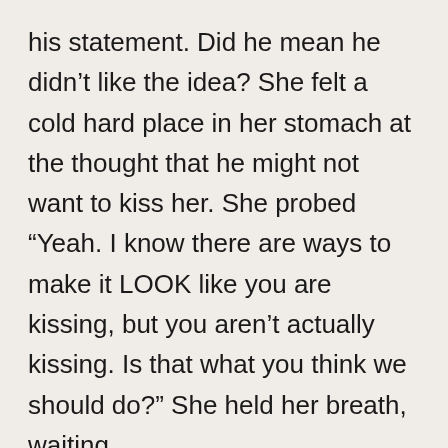his statement. Did he mean he didn't like the idea? She felt a cold hard place in her stomach at the thought that he might not want to kiss her. She probed “Yeah. I know there are ways to make it LOOK like you are kissing, but you aren't actually kissing. Is that what you think we should do?” She held her breath, waiting